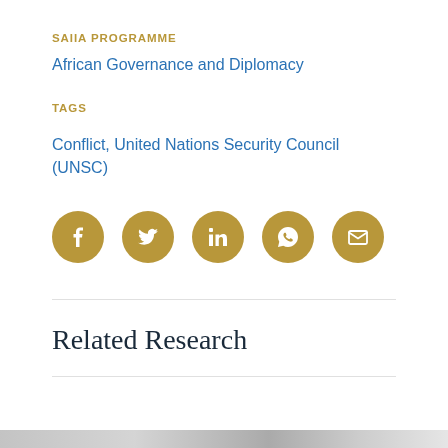SAIIA PROGRAMME
African Governance and Diplomacy
TAGS
Conflict, United Nations Security Council (UNSC)
[Figure (other): Row of five gold social media sharing icons: Facebook, Twitter, LinkedIn, WhatsApp, Email]
Related Research